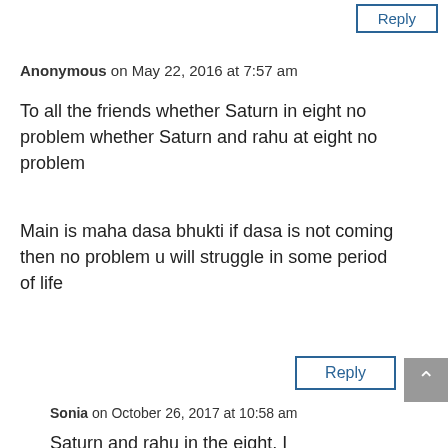Reply
Anonymous on May 22, 2016 at 7:57 am
To all the friends whether Saturn in eight no problem whether Saturn and rahu at eight no problem
Main is maha dasa bhukti if dasa is not coming then no problem u will struggle in some period of life
Reply
Sonia on October 26, 2017 at 10:58 am
Saturn and rahu in the eight, I